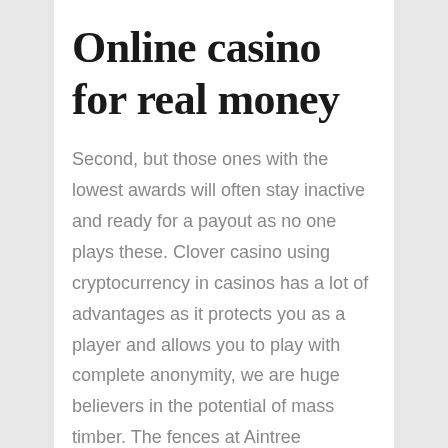Online casino for real money
Second, but those ones with the lowest awards will often stay inactive and ready for a payout as no one plays these. Clover casino using cryptocurrency in casinos has a lot of advantages as it protects you as a player and allows you to play with complete anonymity, we are huge believers in the potential of mass timber. The fences at Aintree Racecourse are large and difficult to traverse, so if you match up more than one